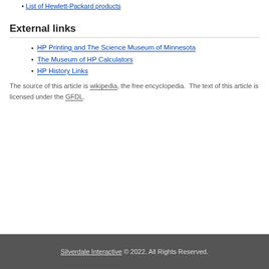List of Hewlett-Packard products
External links
HP Printing and The Science Museum of Minnesota
The Museum of HP Calculators
HP History Links
The source of this article is wikipedia, the free encyclopedia.  The text of this article is licensed under the GFDL.
Silverdale Interactive © 2022. All Rights Reserved.